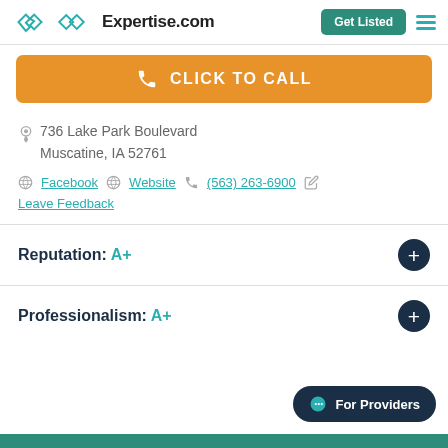Expertise.com | Get Listed
[Figure (other): Orange click to call button with phone icon]
736 Lake Park Boulevard
Muscatine, IA 52761
Facebook | Website | (563) 263-6900 | Leave Feedback
Reputation: A+
Professionalism: A+
[Figure (other): For Providers chat button]